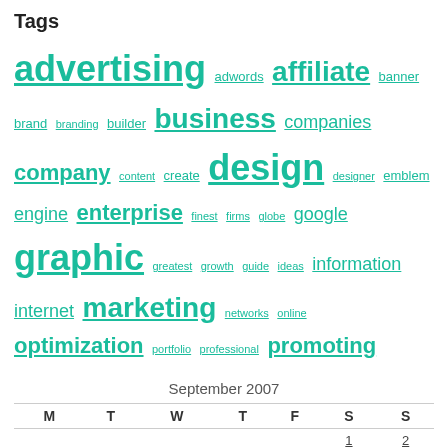Tags
advertising adwords affiliate banner brand branding builder business companies company content create design designer emblem engine enterprise finest firms globe google graphic greatest growth guide ideas information internet marketing networks online optimization portfolio professional promoting redesign search services sites small software steps studio website websites
September 2007
| M | T | W | T | F | S | S |
| --- | --- | --- | --- | --- | --- | --- |
|  |  |  |  |  | 1 | 2 |